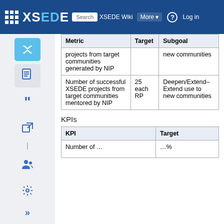XSEDE Wiki — Search XSEDE Wiki — More — Log in
| Metric | Target | Subgoal |
| --- | --- | --- |
| projects from target communities generated by NIP |  | new communities |
| Number of successful XSEDE projects from target communities mentored by NIP | 25 each RP | Deepen/Extend– Extend use to new communities |
KPIs
| KPI | Target |
| --- | --- |
| Number of … | …% |